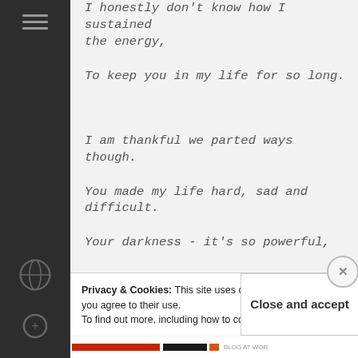I honestly don't know how I sustained the energy,
To keep you in my life for so long.
I am thankful we parted ways though.
You made my life hard, sad and difficult.
Your darkness - it's so powerful,
Privacy & Cookies: This site uses cookies. By continuing to use this website, you agree to their use. To find out more, including how to control cookies, see here: Cookie Policy
Close and accept